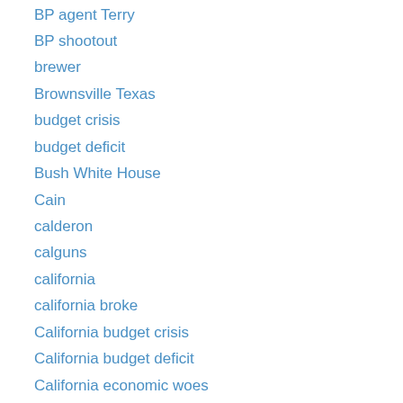BP agent Terry
BP shootout
brewer
Brownsville Texas
budget crisis
budget deficit
Bush White House
Cain
calderon
calguns
california
california broke
California budget crisis
California budget deficit
California economic woes
California governor race
California laws
california pension crisis
calTrans
camarena